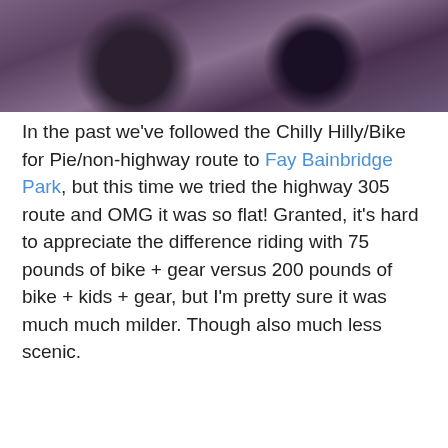[Figure (photo): Top portion of a photo showing bicycle wheels and tires on a paved road surface with reddish/purple toned pavement]
In the past we've followed the Chilly Hilly/Bike for Pie/non-highway route to Fay Bainbridge Park, but this time we tried the highway 305 route and OMG it was so flat! Granted, it's hard to appreciate the difference riding with 75 pounds of bike + gear versus 200 pounds of bike + kids + gear, but I'm pretty sure it was much much milder. Though also much less scenic.
[Figure (screenshot): Google Maps screenshot showing a route with a popup listing 'Bainbridge Island, 2...' and 'Fay Bainbridge Park...' destinations with a 'More options' link, and map markers visible]